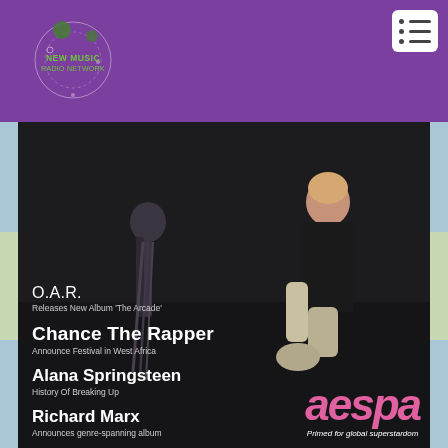[Figure (logo): New Music Radio Network logo — circular logo with decorative circles and dots on purple background]
[Figure (photo): Screenshot of a music news website showing aespa K-pop artist in dark outfit with gloves, overlaid with text about music news stories: O.A.R., Chance The Rapper, Alana Springsteen, Richard Marx. aespa logo in pink text with tagline 'Primed for global superstardom'.]
O.A.R.
Releases New Album 'The Arcade'
Chance The Rapper
Announce Festival in West Africa
Alana Springsteen
History Of Breaking Up
Richard Marx
Announces genre-spanning album
aespa
Primed for global superstardom